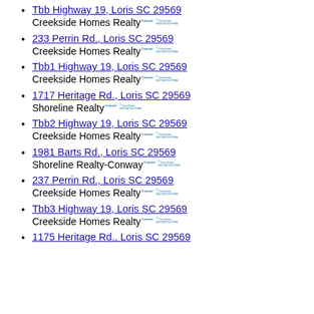Tbb Highway 19, Loris SC 29569
Creekside Homes Realty [Coastal Carolinas logo]
233 Perrin Rd., Loris SC 29569
Creekside Homes Realty [Coastal Carolinas logo]
Tbb1 Highway 19, Loris SC 29569
Creekside Homes Realty [Coastal Carolinas logo]
1717 Heritage Rd., Loris SC 29569
Shoreline Realty [Coastal Carolinas logo]
Tbb2 Highway 19, Loris SC 29569
Creekside Homes Realty [Coastal Carolinas logo]
1981 Barts Rd., Loris SC 29569
Shoreline Realty-Conway [Coastal Carolinas logo]
237 Perrin Rd., Loris SC 29569
Creekside Homes Realty [Coastal Carolinas logo]
Tbb3 Highway 19, Loris SC 29569
Creekside Homes Realty [Coastal Carolinas logo]
1175 Heritage Rd., Loris SC 29569